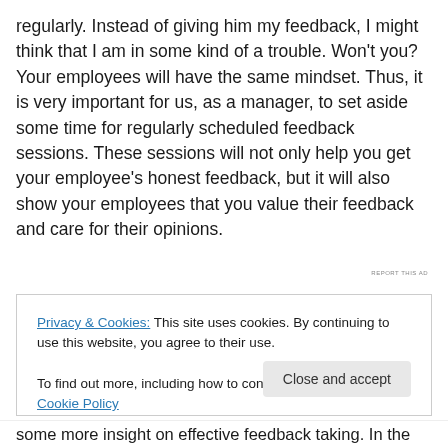regularly. Instead of giving him my feedback, I might think that I am in some kind of a trouble. Won't you? Your employees will have the same mindset. Thus, it is very important for us, as a manager, to set aside some time for regularly scheduled feedback sessions. These sessions will not only help you get your employee's honest feedback, but it will also show your employees that you value their feedback and care for their opinions.
[Figure (other): Advertisement banner with photo and blue background, with 'REPORT THIS AD' label]
Privacy & Cookies: This site uses cookies. By continuing to use this website, you agree to their use.
To find out more, including how to control cookies, see here: Cookie Policy
some more insight on effective feedback taking. In the